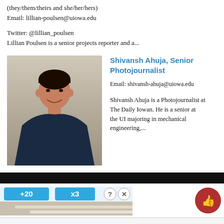(they/them/theirs and she/her/hers)
Email: lillian-poulsen@uiowa.edu
Twitter: @lillian_poulsen
Lillian Poulsen is a senior projects reporter and a...
[Figure (photo): Headshot photo of Shivansh Ahuja, a young man smiling, wearing a dark navy shirt, against a neutral background]
Shivansh Ahuja, Senior Photojournalist
Email: shivansh-ahuja@uiowa.edu
Shivansh Ahuja is a Photojournalist at The Daily Iowan. He is a senior at the UI majoring in mechanical engineering,...
[Figure (screenshot): Advertisement banner showing +20 and x3 bonus indicators with a question mark and close button, blue gradient design with stair graphic]
[Figure (illustration): Red circular thumbs-up icon button]